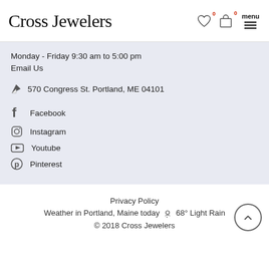Cross Jewelers
Monday - Friday 9:30 am to 5:00 pm
Email Us
570 Congress St. Portland, ME 04101
Facebook
Instagram
Youtube
Pinterest
Privacy Policy
Weather in Portland, Maine today 68° Light Rain
© 2018 Cross Jewelers